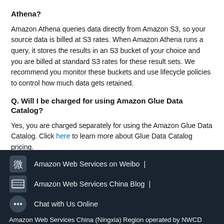Athena?
Amazon Athena queries data directly from Amazon S3, so your source data is billed at S3 rates. When Amazon Athena runs a query, it stores the results in an S3 bucket of your choice and you are billed at standard S3 rates for these result sets. We recommend you monitor these buckets and use lifecycle policies to control how much data gets retained.
Q. Will I be charged for using Amazon Glue Data Catalog?
Yes, you are charged separately for using the Amazon Glue Data Catalog. Click here to learn more about Glue Data Catalog pricing.
Amazon Web Services on Weibo | Amazon Web Services China Blog | Chat with Us Online Amazon Web Services China (Ningxia) Region operated by NWCD